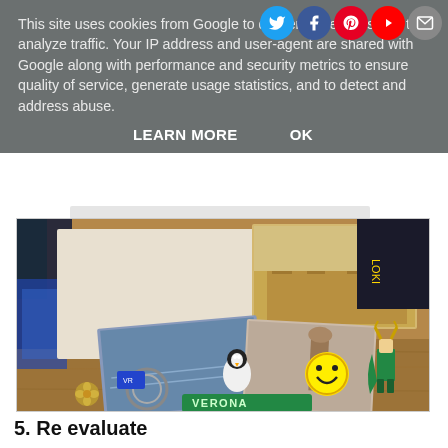This site uses cookies from Google to deliver its services and to analyze traffic. Your IP address and user-agent are shared with Google along with performance and security metrics to ensure quality of service, generate usage statistics, and to detect and address abuse.
LEARN MORE    OK
[Figure (photo): A collection of Verona travel postcards, souvenirs, keychains, a smiley face keychain, a penguin figurine, and a Loki Lego figure arranged on a wooden table.]
5. Re evaluate